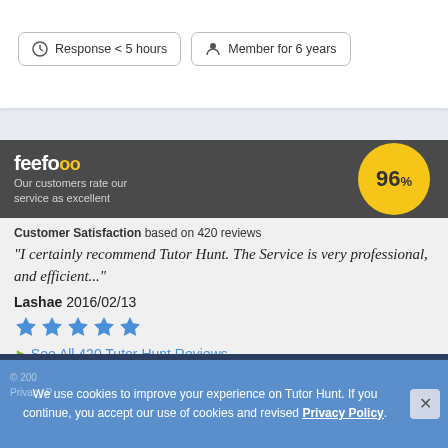Response < 5 hours
Member for 6 years
[Figure (infographic): Feefo banner showing 96% customer satisfaction rating]
Customer Satisfaction based on 420 reviews
"I certainly recommend Tutor Hunt. The Service is very professional, and efficient..."
Lashae 2016/02/13
[Figure (other): Five blue star rating icons]
> See All 420 Tutor Hunt Reviews
We use cookies to improve your experience on Tutor Hunt. If you continue, you accept our use of cookies and revised Privacy Policy.